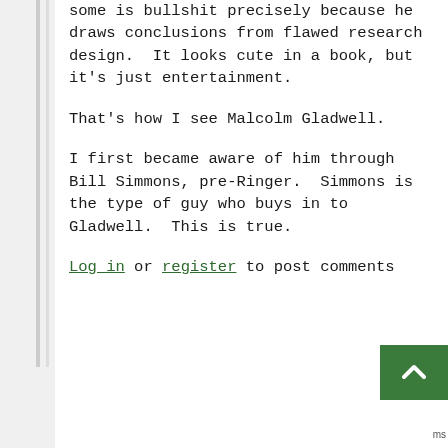some is bullshit precisely because he draws conclusions from flawed research design.  It looks cute in a book, but it's just entertainment.
That's how I see Malcolm Gladwell.
I first became aware of him through Bill Simmons, pre-Ringer.  Simmons is the type of guy who buys in to Gladwell.  This is true.
Log in or register to post comments
[Figure (other): Back to top button — green square with upward-pointing chevron arrow]